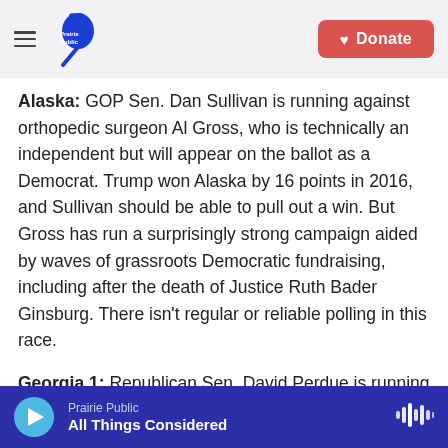Prairie Public | Donate
Alaska: GOP Sen. Dan Sullivan is running against orthopedic surgeon Al Gross, who is technically an independent but will appear on the ballot as a Democrat. Trump won Alaska by 16 points in 2016, and Sullivan should be able to pull out a win. But Gross has run a surprisingly strong campaign aided by waves of grassroots Democratic fundraising, including after the death of Justice Ruth Bader Ginsburg. There isn't regular or reliable polling in this race.

Georgia 1: Republican Sen. David Perdue is running
Prairie Public | All Things Considered